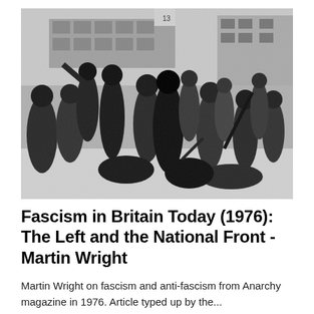[Figure (photo): Black and white photograph of a crowd scene, likely a protest or street confrontation in Britain in the 1970s. People are shown in a chaotic scene with some individuals on the ground and others standing. Buildings are visible in the background.]
Fascism in Britain Today (1976): The Left and the National Front - Martin Wright
Martin Wright on fascism and anti-fascism from Anarchy magazine in 1976. Article typed up by the...